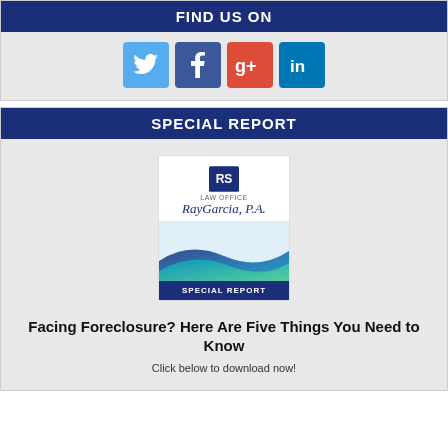FIND US ON
[Figure (infographic): Social media icons: Twitter (blue bird), Facebook (f), Google+ (g+), LinkedIn (in)]
SPECIAL REPORT
[Figure (illustration): Special report booklet cover with Ray Garcia, P.A. law office logo and wave graphic, labeled SPECIAL REPORT]
Facing Foreclosure? Here Are Five Things You Need to Know
Click below to download now!